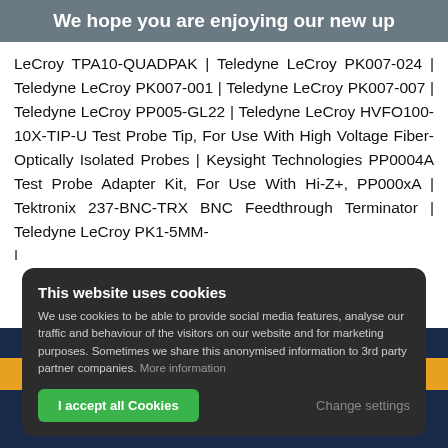We hope you are enjoying our new up
LeCroy TPA10-QUADPAK | Teledyne LeCroy PK007-024 | Teledyne LeCroy PK007-001 | Teledyne LeCroy PK007-007 | Teledyne LeCroy PP005-GL22 | Teledyne LeCroy HVFO100-10X-TIP-U Test Probe Tip, For Use With High Voltage Fiber-Optically Isolated Probes | Keysight Technologies PP0004A Test Probe Adapter Kit, For Use With Hi-Z+, PP000xA | Tektronix 237-BNC-TRX BNC Feedthrough Terminator | Teledyne LeCroy PK1-5MM-
This website uses cookies
We use cookies to be able to provide social media features, analyse our traffic and behaviour of the visitors on our website and for marketing purposes. Sometimes we share this anonymised information to 3rd party partner companies. More information
I accept all Cookies | Change settings
The Biggest Store of Electronics